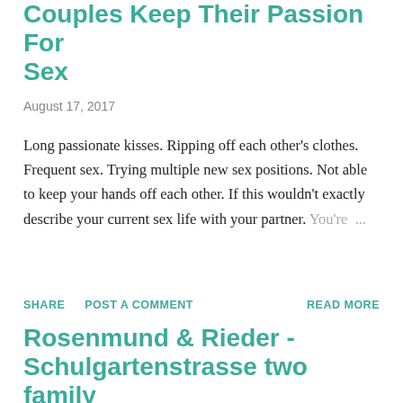Couples Keep Their Passion For Sex
August 17, 2017
Long passionate kisses. Ripping off each other's clothes. Frequent sex. Trying multiple new sex positions. Not able to keep your hands off each other. If this wouldn't exactly describe your current sex life with your partner. You're ...
SHARE   POST A COMMENT   READ MORE
Rosenmund & Rieder - Schulgartenstrasse two family house,...